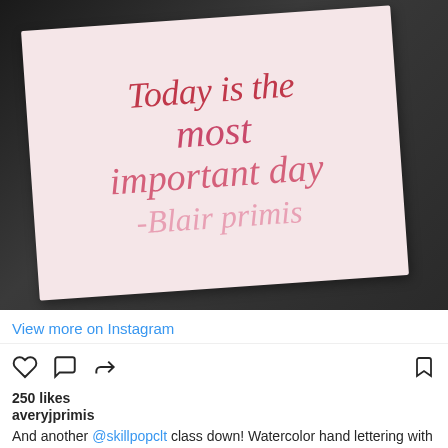[Figure (photo): A pink card with watercolor hand lettering in shades of red and pink reading 'Today is the most important day - Blair primis', resting on a dark wooden surface.]
View more on Instagram
[Figure (infographic): Instagram action icons: heart (like), speech bubble (comment), share arrow, and bookmark]
250 likes
averyjprimis
And another @skillpopclt class down! Watercolor hand lettering with @iamsamwhite awesome!! and quote creds